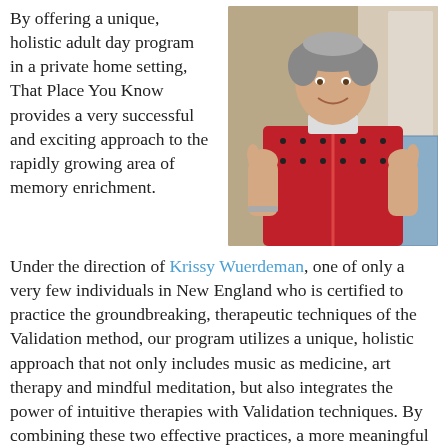By offering a unique, holistic adult day program in a private home setting, That Place You Know provides a very successful and exciting approach to the rapidly growing area of memory enrichment.
[Figure (photo): Elderly woman in a red patterned zip-up sweater giving two thumbs up, smiling, standing indoors.]
Under the direction of Krissy Wuerdeman, one of only a very few individuals in New England who is certified to practice the groundbreaking, therapeutic techniques of the Validation method, our program utilizes a unique, holistic approach that not only includes music as medicine, art therapy and mindful meditation, but also integrates the power of intuitive therapies with Validation techniques. By combining these two effective practices, a more meaningful connection is created allowing for better communication, problem-solving and an overall greater sense of well-being for both